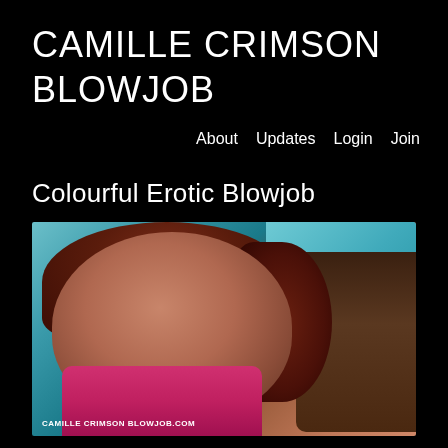CAMILLE CRIMSON BLOWJOB
About   Updates   Login   Join
Colourful Erotic Blowjob
[Figure (photo): A red-haired woman looking up at camera with teal background, adult content website screenshot]
CAMILLE CRIMSON BLOWJOB.COM